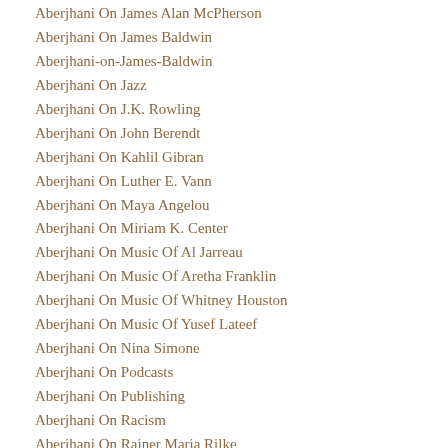Aberjhani On James Alan McPherson
Aberjhani On James Baldwin
Aberjhani-on-James-Baldwin
Aberjhani On Jazz
Aberjhani On J.K. Rowling
Aberjhani On John Berendt
Aberjhani On Kahlil Gibran
Aberjhani On Luther E. Vann
Aberjhani On Maya Angelou
Aberjhani On Miriam K. Center
Aberjhani On Music Of Al Jarreau
Aberjhani On Music Of Aretha Franklin
Aberjhani On Music Of Whitney Houston
Aberjhani On Music Of Yusef Lateef
Aberjhani On Nina Simone
Aberjhani On Podcasts
Aberjhani On Publishing
Aberjhani On Racism
Aberjhani On Rainer Maria Rilke
Aberjhani On Rumi
Aberjhani On Russia's War In Ukraine